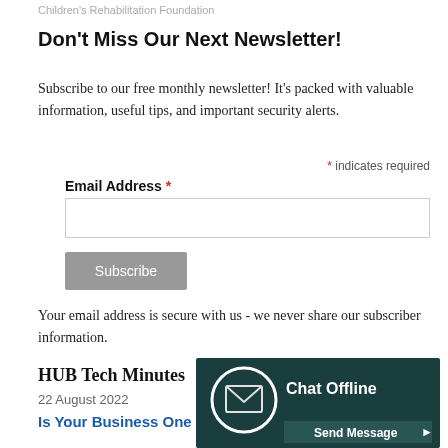Children's Rehabilitation Foundation
Don't Miss Our Next Newsletter!
Subscribe to our free monthly newsletter! It's packed with valuable information, useful tips, and important security alerts.
* indicates required
Email Address *
Subscribe
Your email address is secure with us - we never share our subscriber information.
HUB Tech Minutes
22 August 2022
Is Your Business One
[Figure (screenshot): Chat offline widget with envelope icon, 'Chat Offline' text, and 'Send Message' button on dark teal background]